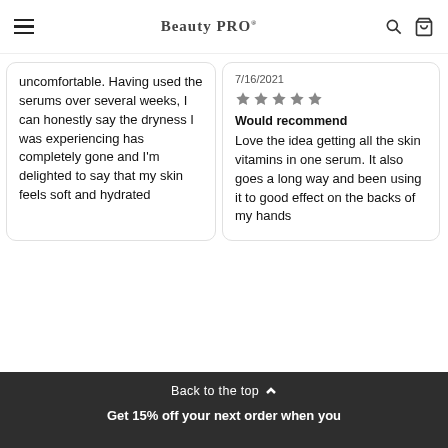BeautyPRO
uncomfortable. Having used the serums over several weeks, I can honestly say the dryness I was experiencing has completely gone and I'm delighted to say that my skin feels soft and hydrated
7/16/2021
★★★★★ Would recommend Love the idea getting all the skin vitamins in one serum. It also goes a long way and been using it to good effect on the backs of my hands
Back to the top ∧ Get 15% off your next order when you